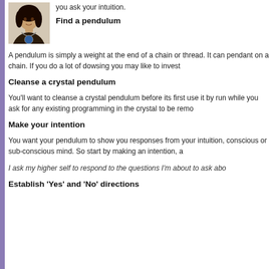[Figure (photo): Photo of a person wearing a necklace with a pendant]
you ask your intuition.
Find a pendulum
A pendulum is simply a weight at the end of a chain or thread. It can pendant on a chain. If you do a lot of dowsing you may like to invest
Cleanse a crystal pendulum
You'll want to cleanse a crystal pendulum before its first use it by run while you ask for any existing programming in the crystal to be remo
Make your intention
You want your pendulum to show you responses from your intuition, conscious or sub-conscious mind. So start by making an intention, a
I ask my higher self to respond to the questions I'm about to ask abo
Establish 'Yes' and 'No' directions